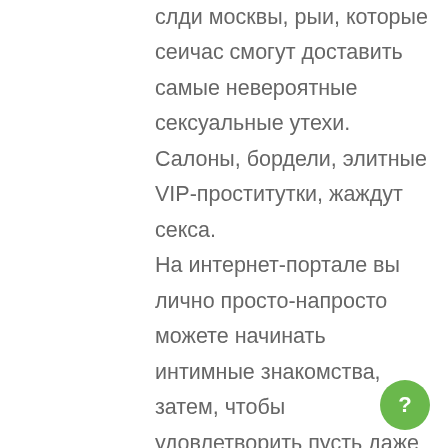слди москвы, рыи, которые сеичас смогут доставить самые невероятные сексуальные утехи. Салоны, бордели, элитные VIP-проститутки, жаждут секса. На интернет-портале вы лично просто-напросто можете начинать интимные знакомства, затем, чтобы удовлетворить пусть даже самые развращенные фантазии сексуального характера: от классического, орального и анального секса до невероятных штучек. Телефоны путан на сайте целиком доступны, и вы можете в любой момент совершить звонок по телефонному номеру полюбившейся девушки, прибыть к ней в гости, пригласить к себе лично или вызвать в сауну. Вот на таких ресурсах сильный пол зачастую находят женщин для измены своим
[Figure (other): Green circle button with a question mark icon]